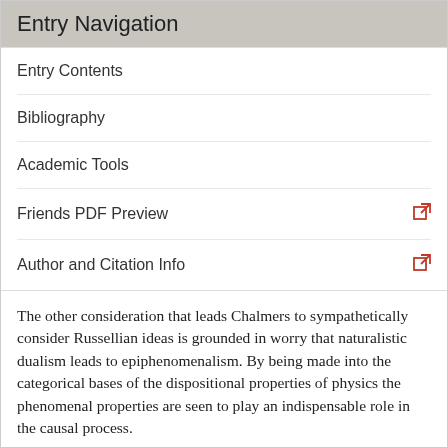Entry Navigation
Entry Contents
Bibliography
Academic Tools
Friends PDF Preview
Author and Citation Info
The other consideration that leads Chalmers to sympathetically consider Russellian ideas is grounded in worry that naturalistic dualism leads to epiphenomenalism. By being made into the categorical bases of the dispositional properties of physics the phenomenal properties are seen to play an indispensable role in the causal process.
But Chalmers acknowledges that the Russellian view—the view that makes the phenomenal into (part of) the construction base—raises worries about idealism and